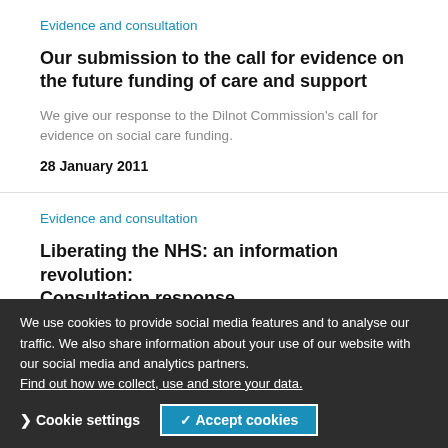Evidence and consultation
Our submission to the call for evidence on the future funding of care and support
We give our response to the Dilnot Commission's call for evidence on social care funding.
28 January 2011
Evidence and consultation
Liberating the NHS: an information revolution: Consultation response
Our response to the Department of Health's public consultation on a new information strategy for the NHS.
14 January 2011
We use cookies to provide social media features and to analyse our traffic. We also share information about your use of our website with our social media and analytics partners. Find out how we collect, use and store your data.